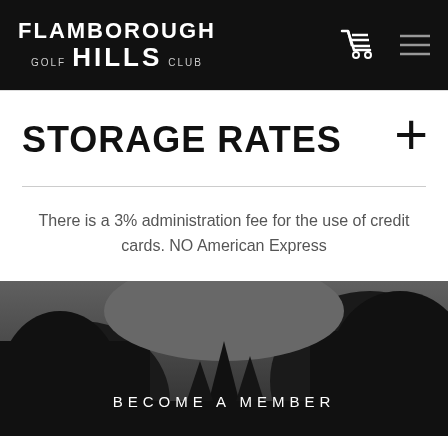FLAMBOROUGH GOLF HILLS CLUB
STORAGE RATES
There is a 3% administration fee for the use of credit cards. NO American Express
[Figure (photo): Dark background photo of trees with text 'BECOME A MEMBER' overlaid]